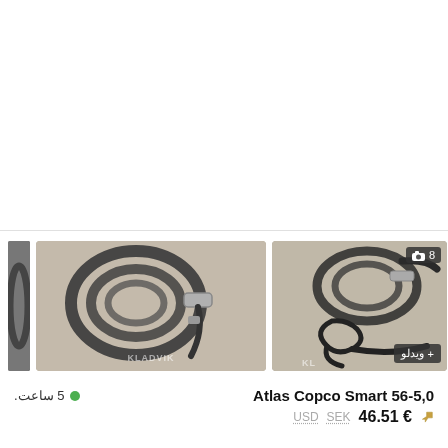[Figure (photo): Two photos of Atlas Copco Smart 56-5,0 concrete vibrator hoses/cables on a concrete surface. Left image shows a coiled hose with connector. Right image shows similar equipment with a video badge and camera count badge showing 8 photos.]
5 ساعت.
Atlas Copco Smart 56-5,0
USD  SEK  46.51 €